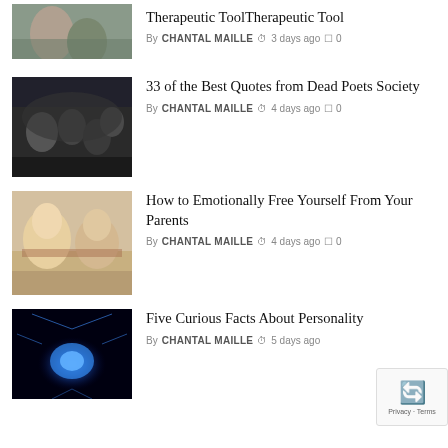[Figure (photo): Partial image of people hugging or comforting each other, cropped at top]
Therapeutic Tool
By CHANTAL MAILLE  3 days ago  0
[Figure (photo): Group of people in a cave or underground setting, moody cinematic scene from Dead Poets Society]
33 of the Best Quotes from Dead Poets Society
By CHANTAL MAILLE  4 days ago  0
[Figure (photo): Two women sitting apart, one younger with blonde hair, one older with white hair gesturing, appearing to be in conflict]
How to Emotionally Free Yourself From Your Parents
By CHANTAL MAILLE  4 days ago  0
[Figure (photo): Glowing blue brain with light rays emanating from it on dark background]
Five Curious Facts About Personality
By CHANTAL MAILLE  5 days ago